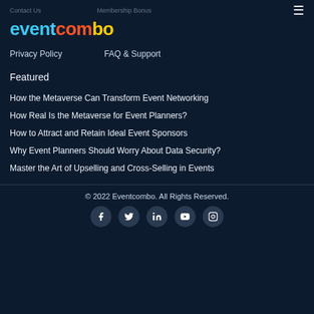Contact Us    Membership Bonus
[Figure (logo): Eventcombo logo with colorful lettering on dark background]
Privacy Policy    FAQ & Support
Featured
How the Metaverse Can Transform Event Networking
How Real Is the Metaverse for Event Planners?
How to Attract and Retain Ideal Event Sponsors
Why Event Planners Should Worry About Data Security?
Master the Art of Upselling and Cross-Selling in Events
© 2022 Eventcombo. All Rights Reserved.